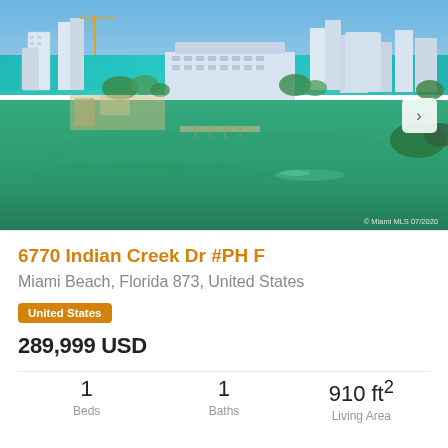[Figure (photo): Aerial view of Miami Beach waterfront with high-rise condominiums, turquoise ocean in background, green intracoastal waterway in foreground with a boat wake visible. © Miami MLS 07/2020 watermark.]
6770 Indian Creek Dr #PH F
Miami Beach, Florida 873, United States
United States
289,999 USD
| Beds | Baths | Living Area |
| --- | --- | --- |
| 1 | 1 | 910 ft² |